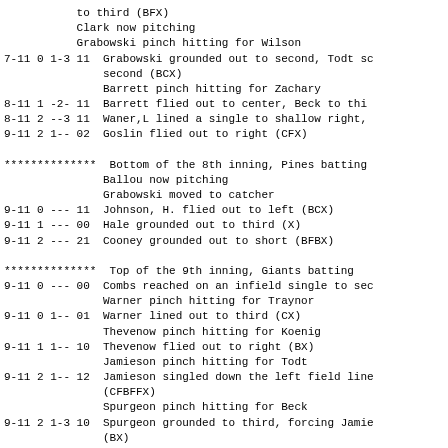to third (BFX)
Clark now pitching
Grabowski pinch hitting for Wilson
7-11 0 1-3 11  Grabowski grounded out to second, Todt sc
               second (BCX)
               Barrett pinch hitting for Zachary
8-11 1 -2- 11  Barrett flied out to center, Beck to thi
8-11 2 --3 11  Waner,L lined a single to shallow right,
9-11 2 1-- 02  Goslin flied out to right (CFX)

************** Bottom of the 8th inning, Pines batting
               Ballou now pitching
               Grabowski moved to catcher
9-11 0 --- 11  Johnson, H. flied out to left (BCX)
9-11 1 --- 00  Hale grounded out to third (X)
9-11 2 --- 21  Cooney grounded out to short (BFBX)

************** Top of the 9th inning, Giants batting
9-11 0 --- 00  Combs reached on an infield single to sec
               Warner pinch hitting for Traynor
9-11 0 1-- 01  Warner lined out to third (CX)
               Thevenow pinch hitting for Koenig
9-11 1 1-- 10  Thevenow flied out to right (BX)
               Jamieson pinch hitting for Todt
9-11 2 1-- 12  Jamieson singled down the left field line
               (CFBFFX)
               Spurgeon pinch hitting for Beck
9-11 2 1-3 10  Spurgeon grounded to third, forcing Jamie
               (BX)